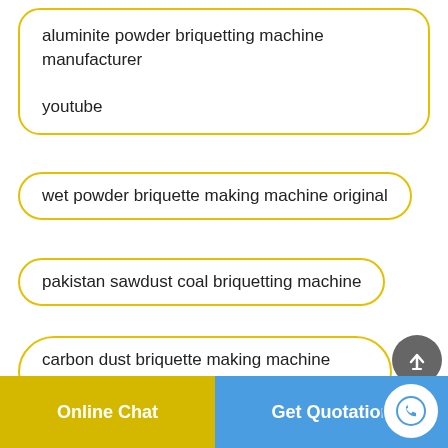aluminite powder briquetting machine manufacturer youtube
wet powder briquette making machine original
pakistan sawdust coal briquetting machine
carbon dust briquette making machine indonesia kit
dedusting briquette press machine benefits
Online Chat   Get Quotation